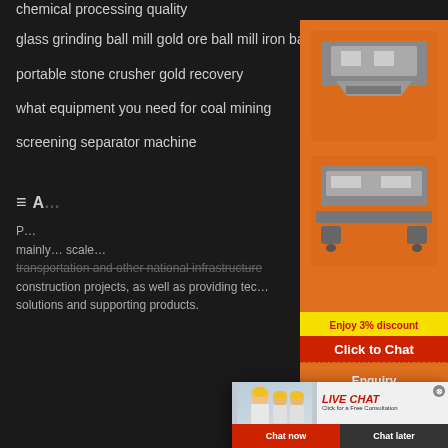chemical processing quality
glass grinding ball mill gold ore ball mill iron ball mill
portable stone crusher gold recovery
what equipment you need for coal mining
screening separator machine
A…
P… mainly… scale… transportation and other national infrastructure construction projects, as well as providing tec… solutions and supporting products.
[Figure (photo): Orange sidebar advertisement panel showing mining/crushing machinery images, discount offer 'Enjoy 3% discount', 'Click to Chat' button in red, 'Enquiry' section, and contact 'limingjlmofen@sina.com']
[Figure (screenshot): Live chat popup overlay showing workers in yellow hard hats, bold red italic 'LIVE CHAT' text, 'Click for a Free Consultation' subtitle, close button, 'Chat now' red button and 'Chat later' dark button]